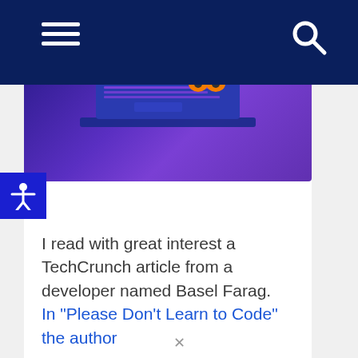Navigation bar with hamburger menu and search icon
[Figure (illustration): Hero illustration showing a laptop with an owl-like character on a purple/indigo gradient background]
[Figure (illustration): Blue accessibility icon button showing a person with arms outstretched]
I read with great interest a TechCrunch article from a developer named Basel Farag. In "Please Don't Learn to Code" the author...